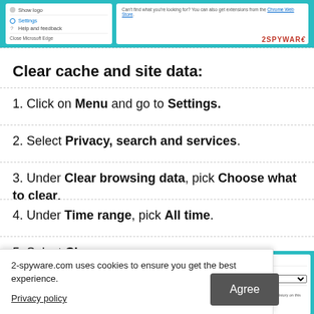[Figure (screenshot): Screenshot of Microsoft Edge browser settings menu on left (showing Settings, Help and feedback, Close Microsoft Edge) and extension store page on right, with 2-spyware watermark]
Clear cache and site data:
1. Click on Menu and go to Settings.
2. Select Privacy, search and services.
3. Under Clear browsing data, pick Choose what to clear.
4. Under Time range, pick All time.
5. Select Clear now.
[Figure (screenshot): Screenshot of Clear browsing data dialog in Microsoft Edge showing browsing history option]
2-spyware.com uses cookies to ensure you get the best experience.
Privacy policy
Agree